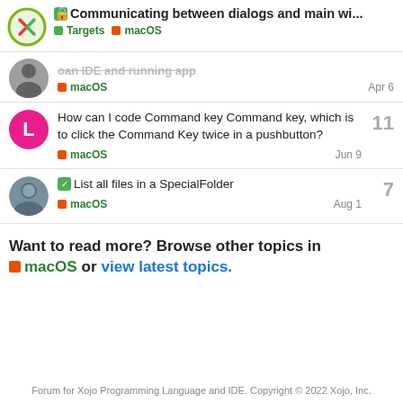Communicating between dialogs and main wi... | Targets | macOS
...oan IDE and running app | macOS | Apr 6
How can I code Command key Command key, which is to click the Command Key twice in a pushbutton? | macOS | Jun 9 | 11
List all files in a SpecialFolder | macOS | Aug 1 | 7
Want to read more? Browse other topics in macOS or view latest topics.
Forum for Xojo Programming Language and IDE. Copyright © 2022 Xojo, Inc.